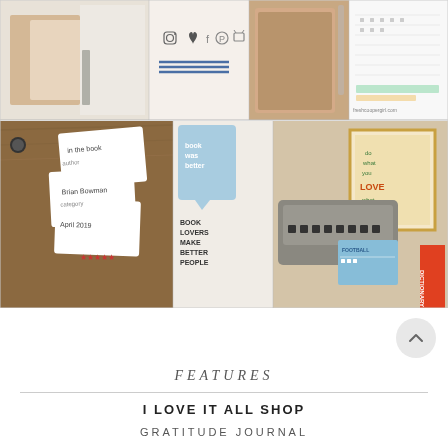[Figure (photo): Collage of six product photos: notebooks/journals on white textured surface with social media icons overlay, leather wallet/planner, calendar/planner page; book tags on wood surface, typography prints with book and reading quotes, typewriter with book-themed desk items]
FEATURES
I LOVE IT ALL SHOP
GRATITUDE JOURNAL